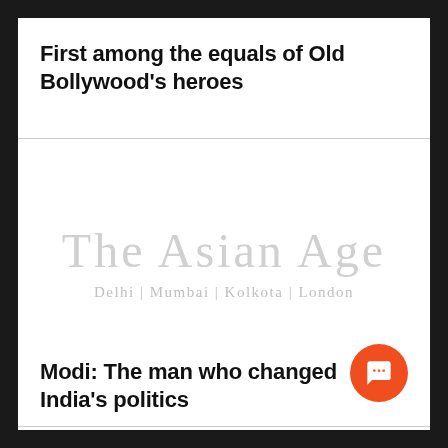First among the equals of Old Bollywood's heroes
[Figure (logo): The Asian Age newspaper logo with tagline: Delhi | Mumbai | Kolkota | London]
Modi: The man who changed India's politics